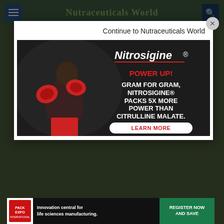Nutraceuticals World
Continue to Nutraceuticals World
[Figure (advertisement): Nitrosigine advertisement featuring a male boxer in red gloves on dark background. Text reads: POWER UP! GRAM FOR GRAM, NITROSIGINE® PACKS 5X MORE POWER THAN CITRULLINE MALATE. LEARN MORE button.]
[Figure (advertisement): Innovation central for life sciences manufacturing. REGISTER NOW AND SAVE. Pack Expo International logo.]